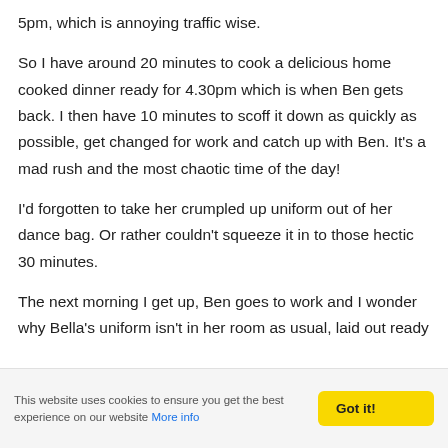5pm, which is annoying traffic wise.
So I have around 20 minutes to cook a delicious home cooked dinner ready for 4.30pm which is when Ben gets back.  I then have 10 minutes to scoff it down as quickly as possible, get changed for work and catch up with Ben.  It's a mad rush and the most chaotic time of the day!
I'd forgotten to take her crumpled up uniform out of her dance bag. Or rather couldn't squeeze it in to those hectic 30 minutes.
The next morning I get up, Ben goes to work and I wonder why Bella's uniform isn't in her room as usual, laid out ready
This website uses cookies to ensure you get the best experience on our website More info  Got it!